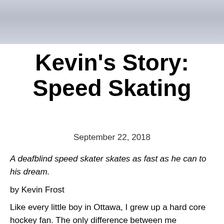[Figure (photo): Top banner photo — pale blue-grey sky or ice surface, cropped to a wide horizontal strip]
Kevin's Story: Speed Skating
September 22, 2018
A deafblind speed skater skates as fast as he can to his dream.
by Kevin Frost
Like every little boy in Ottawa, I grew up a hard core hockey fan. The only difference between me